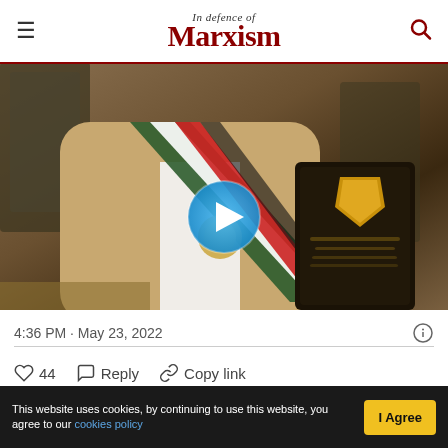In Defence of Marxism
[Figure (photo): Video thumbnail showing a person wearing an Iranian sash/ceremonial ribbon with medal and holding a dark award plaque with gold shield emblem, in what appears to be an official hall. A blue circular play button is overlaid on the image.]
4:36 PM · May 23, 2022
♡ 44   Reply   Copy link
Read replies
This website uses cookies, by continuing to use this website, you agree to our cookies policy   I Agree